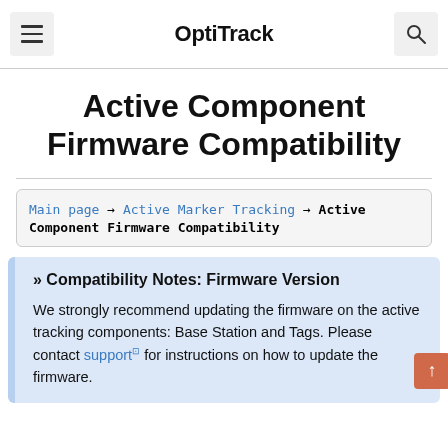OptiTrack
Active Component Firmware Compatibility
Main page → Active Marker Tracking → Active Component Firmware Compatibility
» Compatibility Notes: Firmware Version
We strongly recommend updating the firmware on the active tracking components: Base Station and Tags. Please contact support for instructions on how to update the firmware.